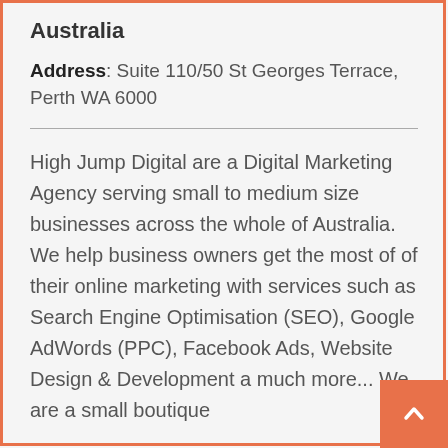Australia
Address: Suite 110/50 St Georges Terrace, Perth WA 6000
High Jump Digital are a Digital Marketing Agency serving small to medium size businesses across the whole of Australia. We help business owners get the most of of their online marketing with services such as Search Engine Optimisation (SEO), Google AdWords (PPC), Facebook Ads, Website Design & Development a much more... We are a small boutique